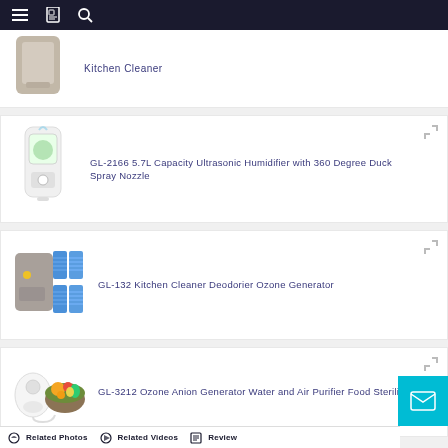Navigation bar with menu, bookmarks, and search icons
[Figure (photo): Partial product card at top - Kitchen Cleaner product image (taupe/grey device)]
Kitchen Cleaner
[Figure (photo): GL-2166 5.7L Capacity Ultrasonic Humidifier with 360 Degree Duck Spray Nozzle - white humidifier device with display]
GL-2166 5.7L Capacity Ultrasonic Humidifier with 360 Degree Duck Spray Nozzle
[Figure (photo): GL-132 Kitchen Cleaner Deodorier Ozone Generator - grey device with blue accessories]
GL-132 Kitchen Cleaner Deodorier Ozone Generator
[Figure (photo): GL-3212 Ozone Anion Generator Water and Air Purifier Food Sterilizer - white device with bowl of vegetables]
GL-3212 Ozone Anion Generator Water and Air Purifier Food Sterilizer
Related Photos  Related Videos  Review